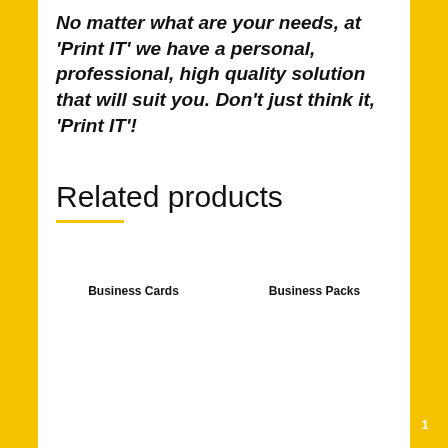No matter what are your needs, at 'Print IT' we have a personal, professional, high quality solution that will suit you. Don't just think it, 'Print IT'!
Related products
[Figure (photo): Stack of colorful rainbow-gradient business cards alongside a white business card on grey background]
[Figure (photo): Orange and white business stationery pack including notepad, letterhead document, and envelope on grey background, with a 'Select options' yellow button overlay]
Business Cards
Business Packs